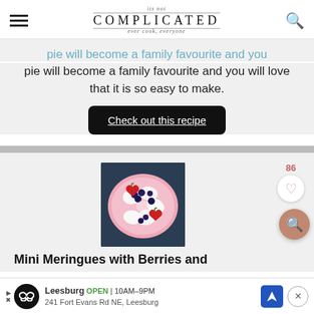its not COMPLICATED ever cook, everyone
pie will become a family favourite and you will love that it is so easy to make.
Check out this recipe
[Figure (photo): Mini meringues topped with fresh berries (blueberries and strawberries) arranged on a pink plate with whipped cream]
Mini Meringues with Berries and
[Figure (other): Advertisement: Leesburg OPEN 10AM-9PM, 241 Fort Evans Rd NE, Leesburg]